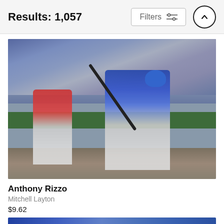Results: 1,057
[Figure (photo): Baseball action photo showing Anthony Rizzo (Chicago Cubs, blue uniform) swinging a bat at home plate, with a catcher in red gear crouching behind him, and a crowded stadium in the background.]
Anthony Rizzo
Mitchell Layton
$9.62
[Figure (photo): Partial view of a second baseball photo, cropped at the bottom of the page.]